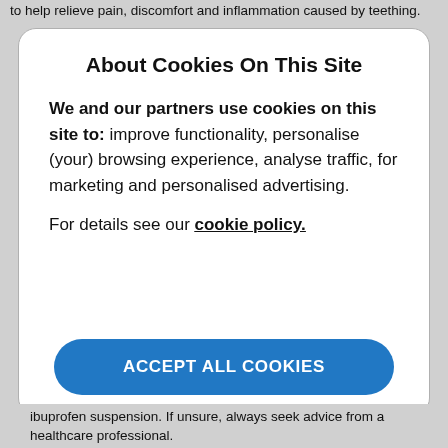to help relieve pain, discomfort and inflammation caused by teething.
About Cookies On This Site
We and our partners use cookies on this site to: improve functionality, personalise (your) browsing experience, analyse traffic, for marketing and personalised advertising.
For details see our cookie policy.
ACCEPT ALL COOKIES
ibuprofen suspension. If unsure, always seek advice from a healthcare professional.